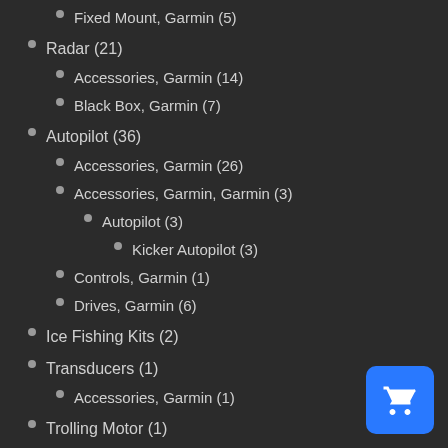Fixed Mount, Garmin (5)
Radar (21)
Accessories, Garmin (14)
Black Box, Garmin (7)
Autopilot (36)
Accessories, Garmin (26)
Accessories, Garmin, Garmin (3)
Autopilot (3)
Kicker Autopilot (3)
Controls, Garmin (1)
Drives, Garmin (6)
Ice Fishing Kits (2)
Transducers (1)
Accessories, Garmin (1)
Trolling Motor (1)
Accessories, Garmin (1)